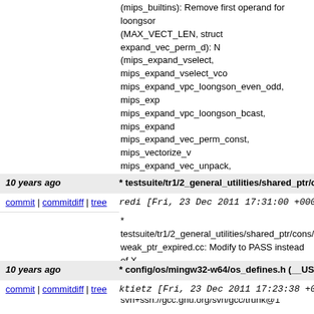(mips_builtins): Remove first operand for loongson (MAX_VECT_LEN, struct expand_vec_perm_d): N (mips_expand_vselect, mips_expand_vselect_vco mips_expand_vpc_loongson_even_odd, mips_exp mips_expand_vpc_loongson_bcast, mips_expand mips_expand_vec_perm_const, mips_vectorize_v mips_expand_vec_unpack, mips_constant_elt_p, mips_expand_vi_constant, mips_expand_vi_loong mips_expand_vi_general, mips_expand_vec_redu TARGET_VECTORIZE_VEC_PERM_CONST_OK (mips_expand_vector_init): Rewrite. * config/mips/predicates.md (const_2_or_3_opera (const_0_to_3_operand): New. git-svn-id: svn+ssh://gcc.gnu.org/svn/gcc/trunk@1
10 years ago * testsuite/tr1/2_general_utilities/shared_ptr/co
commit | commitdiff | tree redi [Fri, 23 Dec 2011 17:31:00 +0000 (1
* testsuite/tr1/2_general_utilities/shared_ptr/cons/ weak_ptr_expired.cc: Modify to PASS instead of X git-svn-id: svn+ssh://gcc.gnu.org/svn/gcc/trunk@1
10 years ago * config/os/mingw32-w64/os_defines.h (__USE
commit | commitdiff | tree ktietz [Fri, 23 Dec 2011 17:23:38 +0000